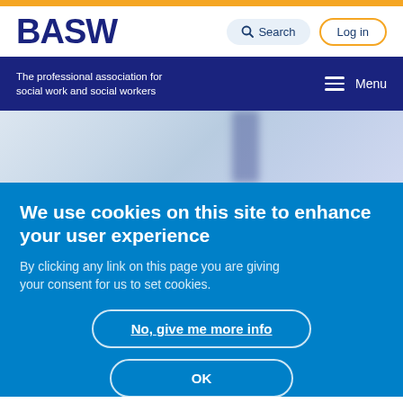[Figure (logo): BASW logo - bold dark navy text on white background]
The professional association for social work and social workers
Menu
[Figure (photo): Blurred background photo of people]
We use cookies on this site to enhance your user experience
By clicking any link on this page you are giving your consent for us to set cookies.
No, give me more info
OK